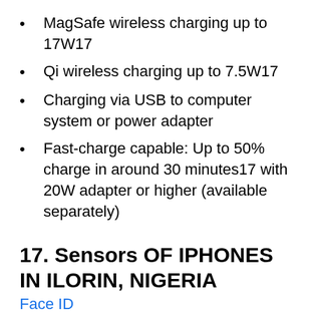MagSafe wireless charging up to 17W17
Qi wireless charging up to 7.5W17
Charging via USB to computer system or power adapter
Fast-charge capable: Up to 50% charge in around 30 minutes17 with 20W adapter or higher (available separately)
17. Sensors OF IPHONES IN ILORIN, NIGERIA
Face ID